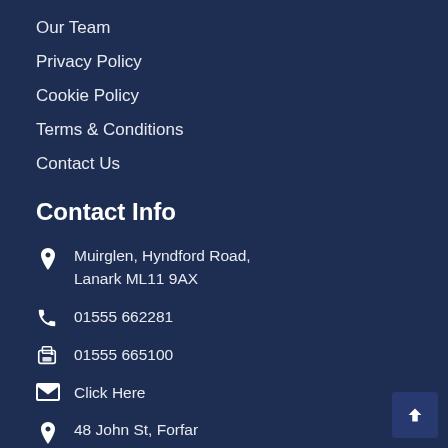Our Team
Privacy Policy
Cookie Policy
Terms & Conditions
Contact Us
Contact Info
Muirglen, Hyndford Road, Lanark ML11 9AX
01555 662281
01555 665100
Click Here
48 John St, Forfar DD8 3EZ